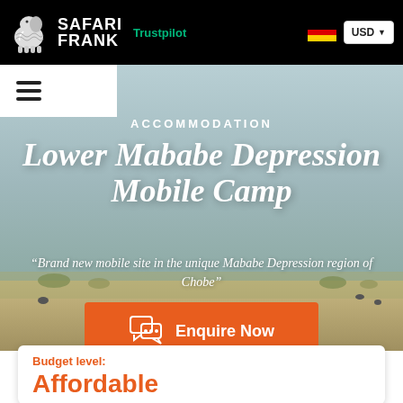Safari Frank | Trustpilot | USD
ACCOMMODATION
Lower Mababe Depression Mobile Camp
“Brand new mobile site in the unique Mababe Depression region of Chobe”
Enquire Now
Budget level:
Affordable